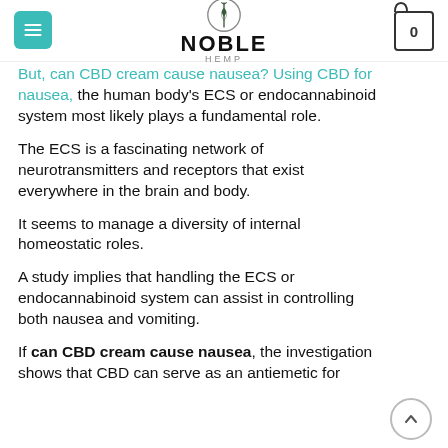Noble Hemp — navigation header with logo, menu, and cart
But, can CBD cream cause nausea? Using CBD for nausea, the human body's ECS or endocannabinoid system most likely plays a fundamental role.
The ECS is a fascinating network of neurotransmitters and receptors that exist everywhere in the brain and body.
It seems to manage a diversity of internal homeostatic roles.
A study implies that handling the ECS or endocannabinoid system can assist in controlling both nausea and vomiting.
If can CBD cream cause nausea, the investigation shows that CBD can serve as an antiemetic for